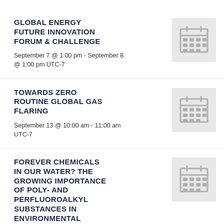GLOBAL ENERGY FUTURE INNOVATION FORUM & CHALLENGE
September 7 @ 1:00 pm - September 8 @ 1:00 pm UTC-7
[Figure (illustration): Calendar icon placeholder image with grey background]
TOWARDS ZERO ROUTINE GLOBAL GAS FLARING
September 13 @ 10:00 am - 11:00 am UTC-7
[Figure (illustration): Calendar icon placeholder image with grey background]
FOREVER CHEMICALS IN OUR WATER? THE GROWING IMPORTANCE OF POLY- AND PERFLUOROALKYL SUBSTANCES IN ENVIRONMENTAL
[Figure (illustration): Calendar icon placeholder image with grey background]